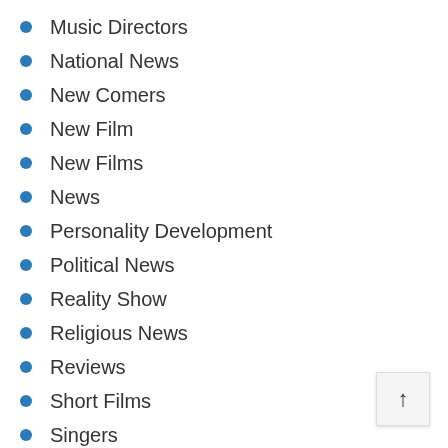Music Directors
National News
New Comers
New Film
New Films
News
Personality Development
Political News
Reality Show
Religious News
Reviews
Short Films
Singers